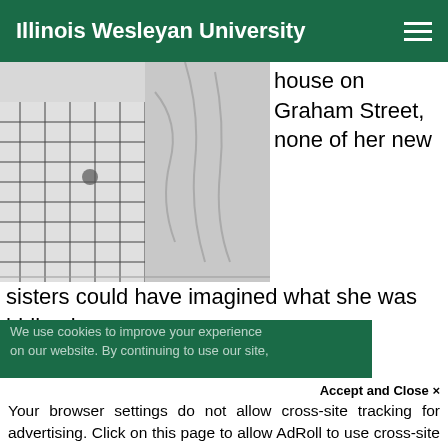Illinois Wesleyan University
[Figure (photo): Black and white close-up photo of two people, one in a plaid shirt]
house on Graham Street, none of her new sisters could have imagined what she was hiding in
We use cookies to improve your experience on our website. By continuing to use our site,
Accept and Close ×
Your browser settings do not allow cross-site tracking for advertising. Click on this page to allow AdRoll to use cross-site tracking to tailor ads to you. Learn more or opt out of this AdRoll tracking by clicking here. This message only appears once.
with Jerry. Tucked in his case Jerry had his own